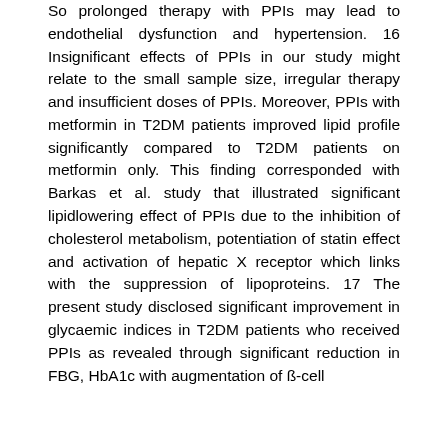So prolonged therapy with PPIs may lead to endothelial dysfunction and hypertension. 16 Insignificant effects of PPIs in our study might relate to the small sample size, irregular therapy and insufficient doses of PPIs. Moreover, PPIs with metformin in T2DM patients improved lipid profile significantly compared to T2DM patients on metformin only. This finding corresponded with Barkas et al. study that illustrated significant lipidlowering effect of PPIs due to the inhibition of cholesterol metabolism, potentiation of statin effect and activation of hepatic X receptor which links with the suppression of lipoproteins. 17 The present study disclosed significant improvement in glycaemic indices in T2DM patients who received PPIs as revealed through significant reduction in FBG, HbA1c with augmentation of ß-cell